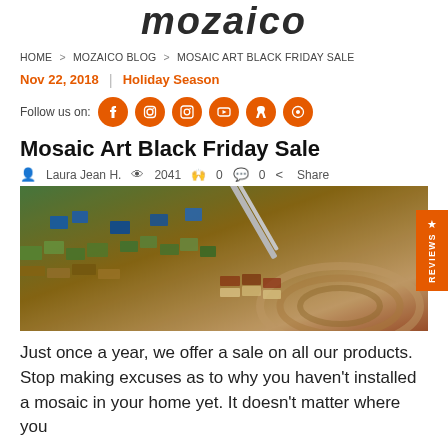mozaico
HOME > MOZAICO BLOG > MOSAIC ART BLACK FRIDAY SALE
Nov 22, 2018 | Holiday Season
Follow us on: [social icons]
Mosaic Art Black Friday Sale
Laura Jean H.  2041  0  0  Share
[Figure (photo): Close-up of hands placing mosaic tiles in a colorful mosaic artwork with blue, green, and earthy tones]
Just once a year, we offer a sale on all our products. Stop making excuses as to why you haven't installed a mosaic in your home yet. It doesn't matter where you